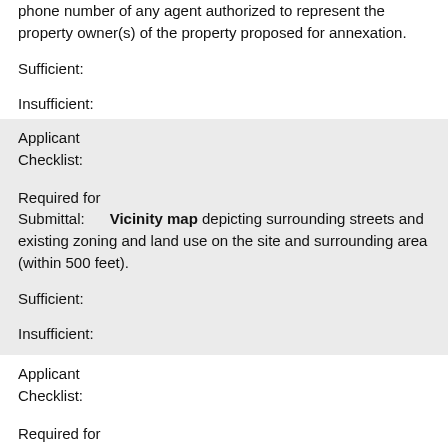name, address and phone number of any agent authorized to represent the property owner(s) of the property proposed for annexation.
Sufficient:
Insufficient:
Applicant Checklist:
Required for Submittal: Vicinity map depicting surrounding streets and existing zoning and land use on the site and surrounding area (within 500 feet).
Sufficient:
Insufficient:
Applicant Checklist:
Required for Submittal: Boundary survey and legal